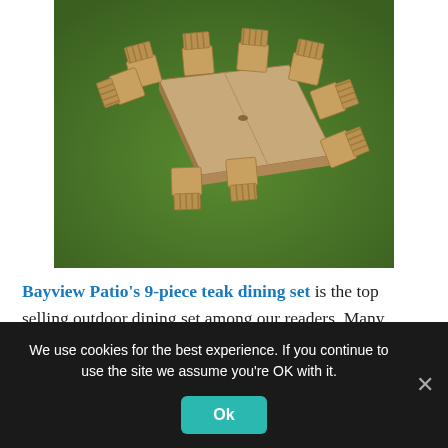[Figure (photo): Outdoor teak dining set with a large rectangular extension table and 8 armchairs arranged around it, placed on green grass lawn, viewed from above at an angle.]
Bayview Patio's 9-piece teak dining set is the top selling outdoor dining set among our readers. Many people say this set is stunning
We use cookies for the best experience. If you continue to use the site we assume you're OK with it.